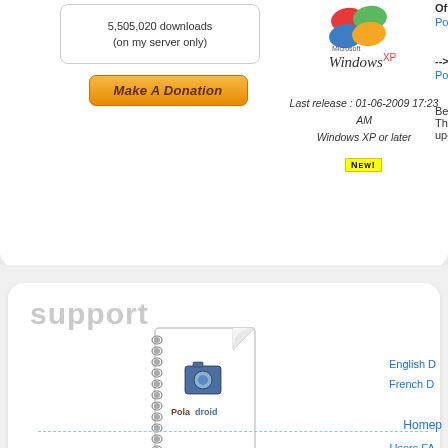5,505,020 downloads
(on my server only)
Make A Donation
[Figure (logo): Windows XP logo with four-color flag icon]
Last release : 01-06-2009 17:23 AM
Windows XP or later
NEW!
Official s
Poladroid
--> New
Poladroid
Beware :
That rele
updates
support
[Figure (illustration): Spiral-bound notebook with Poladroid logo on cover, page corner curled up]
English D
French D
Users FA
Poladroid
Homep